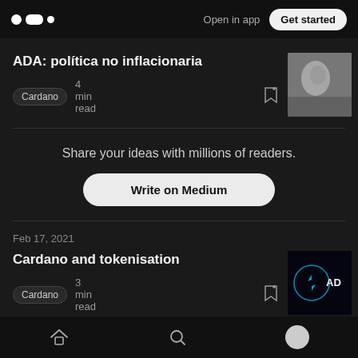Medium app header — Open in app | Get started
ADA: política no inflacionaria
Cardano   4 min read
Share your ideas with millions of readers.
Write on Medium
Feb 17, 2021
Cardano and tokenisation
Cardano   3 min read
Bottom navigation: Home, Search, Profile